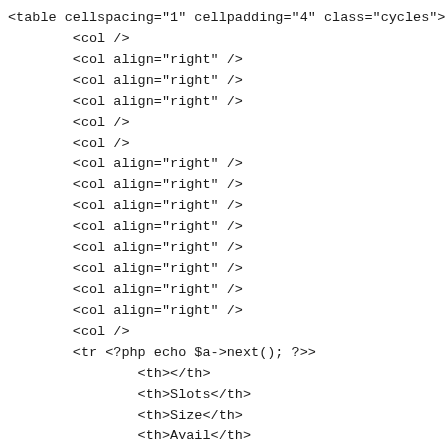<table cellspacing="1" cellpadding="4" class="cycles">
        <col />
        <col align="right" />
        <col align="right" />
        <col align="right" />
        <col />
        <col />
        <col align="right" />
        <col align="right" />
        <col align="right" />
        <col align="right" />
        <col align="right" />
        <col align="right" />
        <col align="right" />
        <col align="right" />
        <col />
        <tr <?php echo $a->next(); ?>>
                <th></th>
                <th>Slots</th>
                <th>Size</th>
                <th>Avail</th>
                <th>Used</th>
                <th>Clear</th>
                <th>Compiling</th>
                <th>Hits</th>
                <th>Misses</th>
                <th>CLogs</th>
                <th>OOMs</th>
                <th>Protected</th>
                <th>Cached</th>